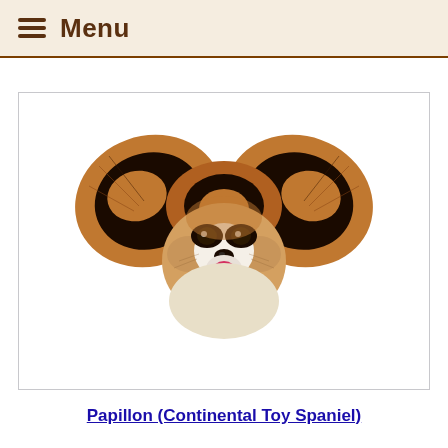Menu
[Figure (illustration): Illustration of a Papillon (Continental Toy Spaniel) dog face with large butterfly-like ears, brown and black coloring, white chest, and pink tongue showing.]
Papillon (Continental Toy Spaniel)